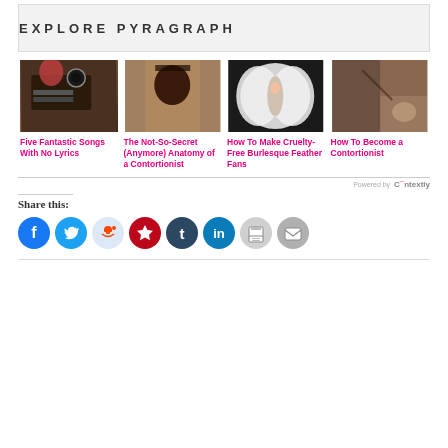EXPLORE PYRAGRAPH
[Figure (photo): Person with headphones at audio equipment]
Five Fantastic Songs With No Lyrics
[Figure (photo): Person doing contortion upside down on a surface]
The Not-So-Secret (Anymore) Anatomy of a Contortionist
[Figure (photo): Woman in white costume with large feather fans]
How To Make Cruelty-Free Burlesque Feather Fans
[Figure (photo): Dancer or contortionist in dimly lit room]
How To Become a Contortionist
Powered by Contextly
Share this:
[Figure (infographic): Social sharing icons: Facebook, Twitter, Reddit, Pinterest, Tumblr, LinkedIn, Print, Email]